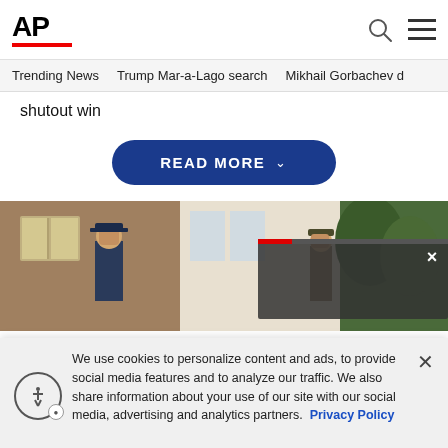AP
Trending News  Trump Mar-a-Lago search  Mikhail Gorbachev d
shutout win
READ MORE
[Figure (photo): Police officer covering face with hands outside a building]
We use cookies to personalize content and ads, to provide social media features and to analyze our traffic. We also share information about your use of our site with our social media, advertising and analytics partners. Privacy Policy